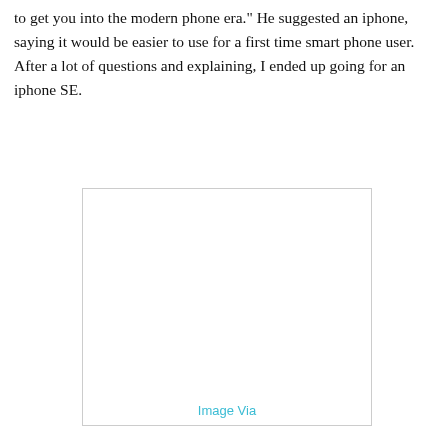to get you into the modern phone era." He suggested an iphone, saying it would be easier to use for a first time smart phone user. After a lot of questions and explaining, I ended up going for an iphone SE.
[Figure (photo): A white/blank image placeholder with a light border, with 'Image Via' caption in cyan/teal text at the bottom center.]
Image Via